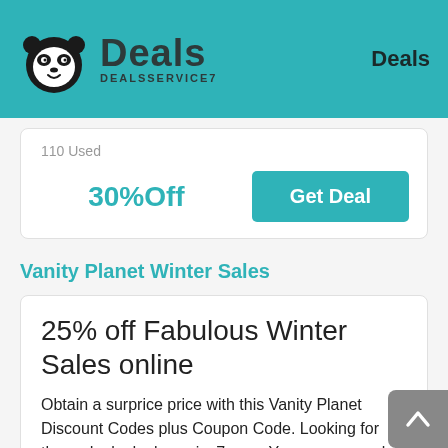Deals DEALSSERVICE7 | Deals
110 Used
30%Off
Get Deal
Vanity Planet Winter Sales
25% off Fabulous Winter Sales online
Obtain a surprice price with this Vanity Planet Discount Codes plus Coupon Code. Looking for those deals dealsservice7.com. You can save a lot